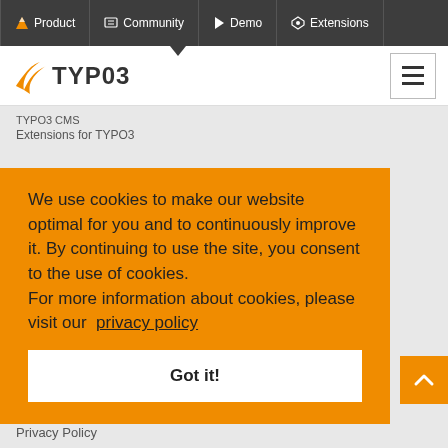Product | Community | Demo | Extensions
[Figure (logo): TYPO3 logo with orange wings and text TYPO3]
TYPO3 CMS
Extensions for TYPO3
We use cookies to make our website optimal for you and to continuously improve it. By continuing to use the site, you consent to the use of cookies.
For more information about cookies, please visit our privacy policy
Got it!
Privacy Policy